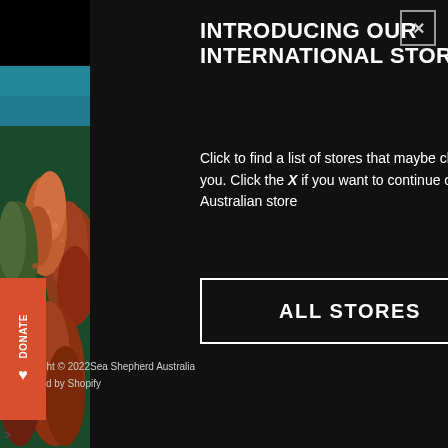[Figure (photo): Underwater coral reef photograph showing colorful coral formations in shades of orange, red, and green against a blue ocean background]
INTRODUCING OUR INTERNATIONAL STORES
Click to find a list of stores that maybe closer to you. Click the X if you want to continue on our Australian store
ALL STORES
Copyright © 2022Sea Shepherd Australia
Powered by Shopify
>